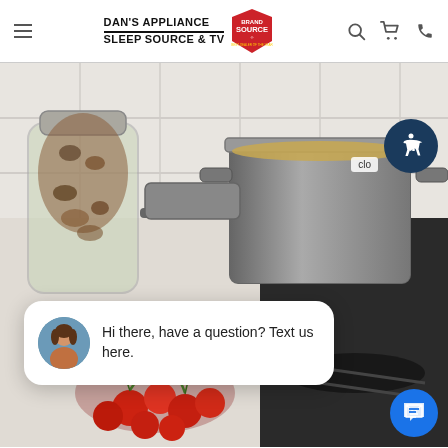DAN'S APPLIANCE SLEEP SOURCE & TV — Brand Source
[Figure (screenshot): Kitchen countertop scene with a large stainless steel pot of soup on a gas stove burner, a glass jar filled with dried beans, and cherry tomatoes on the vine in the foreground. A white tile backsplash is visible in the background. Overlaid is a chat popup with an avatar and the text 'Hi there, have a question? Text us here.' An accessibility icon button is in the upper right and a blue chat button in the lower right.]